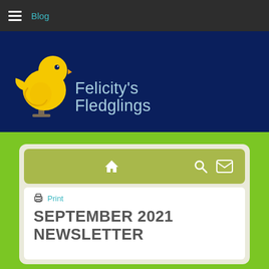Blog
[Figure (logo): Felicity's Fledglings logo: yellow cartoon chick on a perch next to the text 'Felicity's Fledglings' in light blue on a dark navy background]
Print
SEPTEMBER 2021 NEWSLETTER